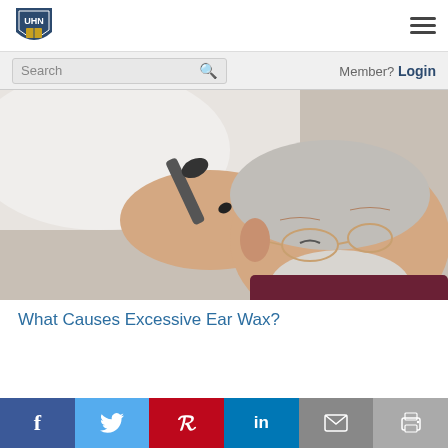UHN logo and navigation hamburger menu
Search | Member? Login
[Figure (photo): A healthcare professional using an otoscope to examine an elderly man's ear. The man has gray hair, a white beard, and glasses.]
What Causes Excessive Ear Wax?
Social sharing bar: Facebook, Twitter, Pinterest, LinkedIn, Email, Print